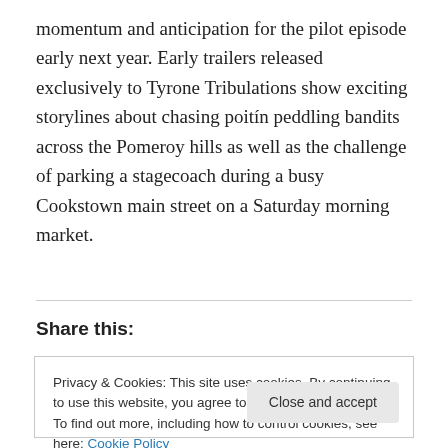momentum and anticipation for the pilot episode early next year. Early trailers released exclusively to Tyrone Tribulations show exciting storylines about chasing poitín peddling bandits across the Pomeroy hills as well as the challenge of parking a stagecoach during a busy Cookstown main street on a Saturday morning market.
The Original
Share this:
Privacy & Cookies: This site uses cookies. By continuing to use this website, you agree to their use.
To find out more, including how to control cookies, see here: Cookie Policy